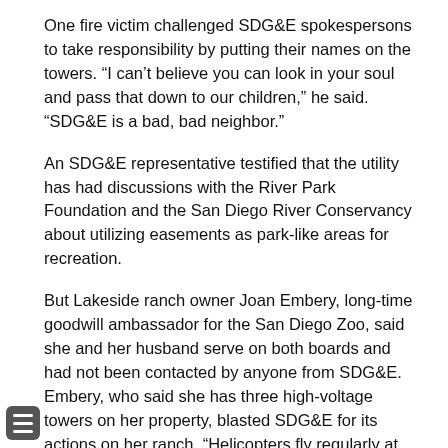One fire victim challenged SDG&E spokespersons to take responsibility by putting their names on the towers. “I can’t believe you can look in your soul and pass that down to our children,” he said. “SDG&E is a bad, bad neighbor.”
An SDG&E representative testified that the utility has had discussions with the River Park Foundation and the San Diego River Conservancy about utilizing easements as park-like areas for recreation.
But Lakeside ranch owner Joan Embery, long-time goodwill ambassador for the San Diego Zoo, said she and her husband serve on both boards and had not been contacted by anyone from SDG&E. Embery, who said she has three high-voltage towers on her property, blasted SDG&E for its actions on her ranch. “Helicopters fly regularly at low elevations,” she revealed. “They have set off dynamite without notice when I was riding my horse.” She described finding motor graders blocking access to her ranch, only to be told by a subcontractor that he had a right to drive through her property without notice. “They cut trees down. They put poison around with no notice.